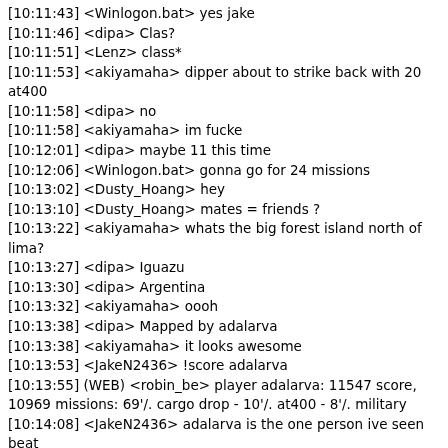[10:11:43] <Winlogon.bat> yes jake
[10:11:46] <dipa> Clas?
[10:11:51] <Lenz> class*
[10:11:53] <akiyamaha> dipper about to strike back with 20 at400
[10:11:58] <dipa> no
[10:11:58] <akiyamaha> im fucke
[10:12:01] <dipa> maybe 11 this time
[10:12:06] <Winlogon.bat> gonna go for 24 missions
[10:13:02] <Dusty_Hoang> hey
[10:13:10] <Dusty_Hoang> mates = friends ?
[10:13:22] <akiyamaha> whats the big forest island north of lima?
[10:13:27] <dipa> Iguazu
[10:13:30] <dipa> Argentina
[10:13:32] <akiyamaha> oooh
[10:13:38] <dipa> Mapped by adalarva
[10:13:38] <akiyamaha> it looks awesome
[10:13:53] <JakeN2436> !score adalarva
[10:13:55] (WEB) <robin_be> player adalarva: 11547 score, 10969 missions: 69'/. cargo drop - 10'/. at400 - 8'/. military
[10:14:08] <JakeN2436> adalarva is the one person ive seen beat winny at grinding score
[10:14:08] <Dusty_Hoang> !score
[10:14:11] (WEB) <robin_be> player Dusty_Hoang: 586 score, 555 missions: 45'/. at400 - 20'/. shamal - 9'/. cargo drop
[10:14:16] <TwilightMontana> !score